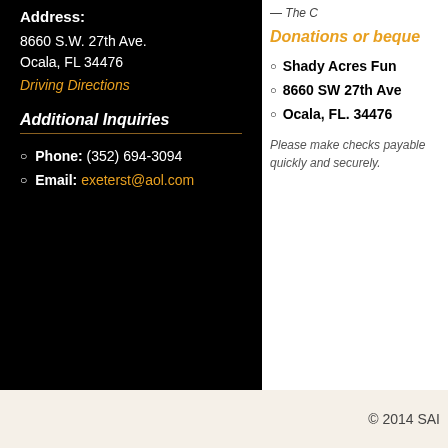Address:
8660 S.W. 27th Ave.
Ocala, FL 34476
Driving Directions
Additional Inquiries
Phone: (352) 694-3094
Email: exeterst@aol.com
— The C
Donations or beque
Shady Acres Fun
8660 SW 27th Ave
Ocala, FL. 34476
Please make checks payable quickly and securely.
© 2014 SAI